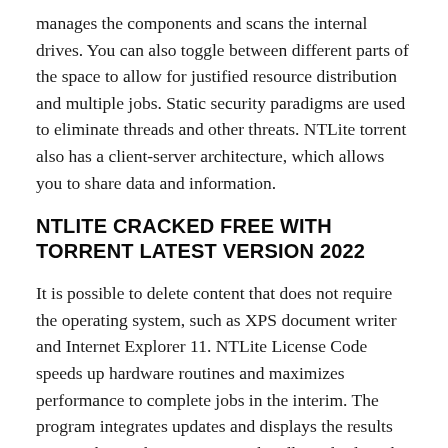manages the components and scans the internal drives. You can also toggle between different parts of the space to allow for justified resource distribution and multiple jobs. Static security paradigms are used to eliminate threads and other threats. NTLite torrent also has a client-server architecture, which allows you to share data and information.
NTLITE CRACKED FREE WITH TORRENT LATEST VERSION 2022
It is possible to delete content that does not require the operating system, such as XPS document writer and Internet Explorer 11. NTLite License Code speeds up hardware routines and maximizes performance to complete jobs in the interim. The program integrates updates and displays the results against them. The program can handle multiple tasks at once without hesitation. You might like SlimCleaner plus the latest version.